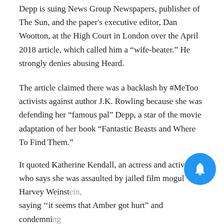Depp is suing News Group Newspapers, publisher of The Sun, and the paper's executive editor, Dan Wootton, at the High Court in London over the April 2018 article, which called him a “wife-beater.” He strongly denies abusing Heard.
The article claimed there was a backlash by #MeToo activists against author J.K. Rowling because she was defending her “famous pal” Depp, a star of the movie adaptation of her book “Fantastic Beasts and Where To Find Them.”
It quoted Katherine Kendall, an actress and activist who says she was assaulted by jailed film mogul Harvey Weinstein, saying ‘‘it seems that Amber got hurt” and condemning violence.
In a written witness statement, Kendall said she spoke in